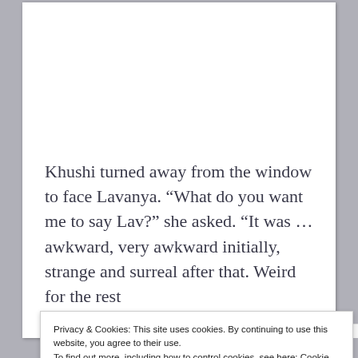Khushi turned away from the window to face Lavanya. “What do you want me to say Lav?” she asked. “It was … awkward, very awkward initially, strange and surreal after that. Weird for the rest
Privacy & Cookies: This site uses cookies. By continuing to use this website, you agree to their use.
To find out more, including how to control cookies, see here: Cookie Policy
Close and accept
BIPRINTCTIUS.AS